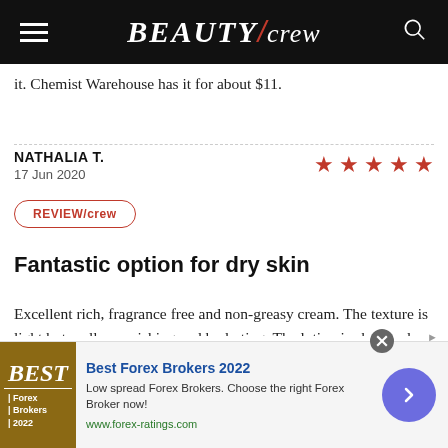BEAUTY/crew
it. Chemist Warehouse has it for about $11.
NATHALIA T.
17 Jun 2020
REVIEW/crew
Fantastic option for dry skin
Excellent rich, fragrance free and non-greasy cream. The texture is light but really nourishing and hydrating. The lotion is absorbed very quickly and you can feel
[Figure (other): Advertisement banner: Best Forex Brokers 2022. Low spread Forex Brokers. Choose the right Forex Broker now! www.forex-ratings.com]